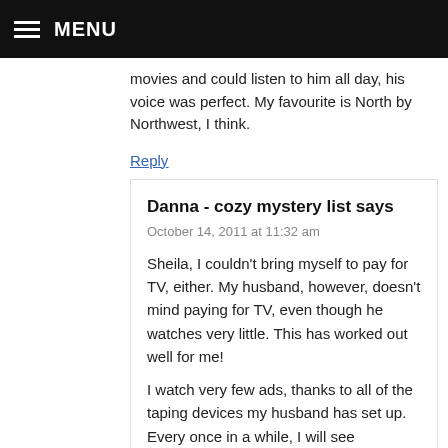MENU
movies and could listen to him all day, his voice was perfect. My favourite is North by Northwest, I think.
Reply
Danna - cozy mystery list says
October 14, 2011 at 11:32 am
Sheila, I couldn't bring myself to pay for TV, either. My husband, however, doesn't mind paying for TV, even though he watches very little. This has worked out well for me!
I watch very few ads, thanks to all of the taping devices my husband has set up. Every once in a while, I will see something that catches my eye while I am fast forwarding, and might stop to see the ad. Some of them are really quite clever…
Reply